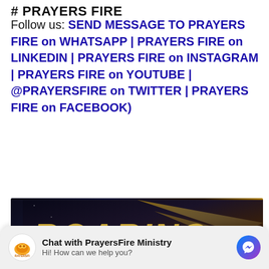# PRAYERS FIRE
Follow us: SEND MESSAGE TO PRAYERS FIRE on WHATSAPP | PRAYERS FIRE on LINKEDIN | PRAYERS FIRE on INSTAGRAM | PRAYERS FIRE on YOUTUBE | @PRAYERSFIRE on TWITTER | PRAYERS FIRE on FACEBOOK)
[Figure (photo): Dark background image with large gold italic text reading 'ROARING' and golden light streaks]
Chat with PrayersFire Ministry
Hi! How can we help you?